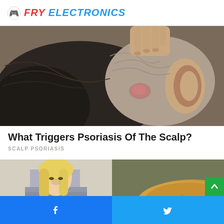FRY ELECTRONICS
[Figure (photo): Close-up photo of a person's scalp and neck area showing psoriasis, with a hand touching the hair at the back of the head. Grey hair visible near the ear.]
What Triggers Psoriasis Of The Scalp?
SCALP PSORIASIS
[Figure (photo): Left: A blonde woman in a grey sweater looking down. Right: Close-up of a yellowish-brown powdery substance.]
Facebook share | Twitter share